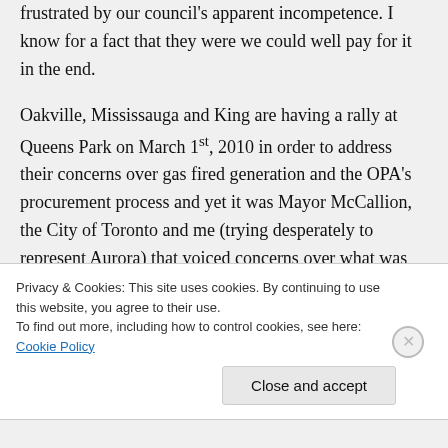frustrated by our council's apparent incompetence. I know for a fact that they were we could well pay for it in the end.

Oakville, Mississauga and King are having a rally at Queens Park on March 1st, 2010 in order to address their concerns over gas fired generation and the OPA's procurement process and yet it was Mayor McCallion, the City of Toronto and me (trying desperately to represent Aurora) that voiced concerns over what was the draft
Privacy & Cookies: This site uses cookies. By continuing to use this website, you agree to their use.
To find out more, including how to control cookies, see here: Cookie Policy